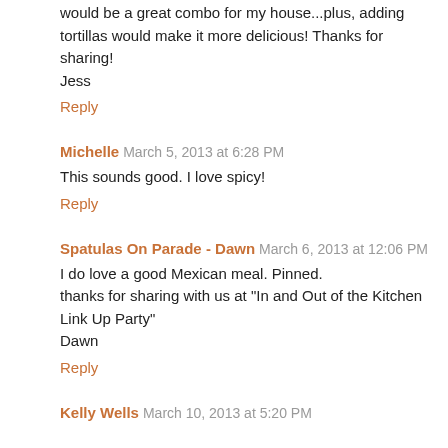would be a great combo for my house...plus, adding tortillas would make it more delicious! Thanks for sharing!
Jess
Reply
Michelle  March 5, 2013 at 6:28 PM
This sounds good. I love spicy!
Reply
Spatulas On Parade - Dawn  March 6, 2013 at 12:06 PM
I do love a good Mexican meal. Pinned.
thanks for sharing with us at "In and Out of the Kitchen Link Up Party"
Dawn
Reply
Kelly Wells  March 10, 2013 at 5:20 PM